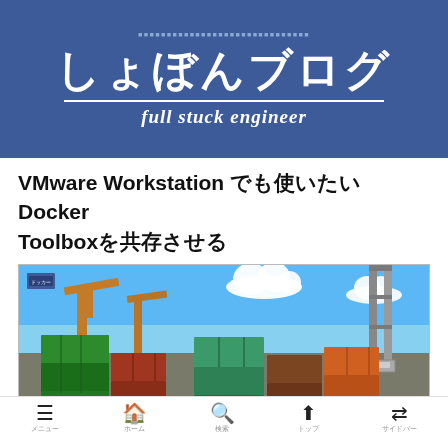しょぼんブログ full stuck engineer
VMware Workstation とDocker Toolboxを共存させる
[Figure (photo): Photo of colorful shipping containers stacked at a port with cranes and blue sky with clouds in the background. Small blue badge label in top-left corner of image.]
メニュー | ホーム | 検索 | トップ | サイドバー